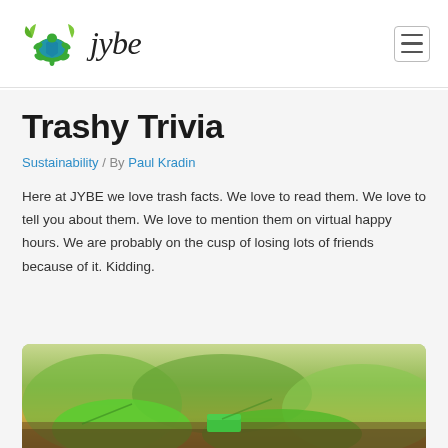jybe [logo]
Trashy Trivia
Sustainability / By Paul Kradin
Here at JYBE we love trash facts. We love to read them. We love to tell you about them. We love to mention them on virtual happy hours. We are probably on the cusp of losing lots of friends because of it. Kidding.
[Figure (photo): Close-up photo of green plant leaves outdoors, with a small green rectangular object visible]